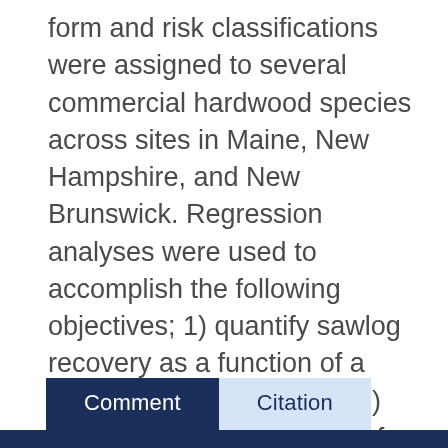form and risk classifications were assigned to several commercial hardwood species across sites in Maine, New Hampshire, and New Brunswick. Regression analyses were used to accomplish the following objectives; 1) quantify sawlog recovery as a function of a trees size, form, and risk; 2) determine the occurrence of stem form and risk among species; 3) and evaluate the influence of stem form and risk on individual tree diameter growth and survival.
Comment
Citation